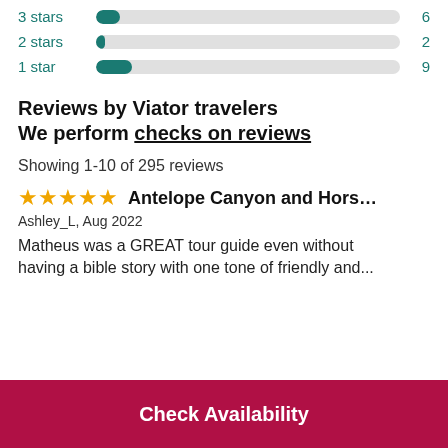4 stars — 15
3 stars — 6
2 stars — 2
1 star — 9
Reviews by Viator travelers
We perform checks on reviews
Showing 1-10 of 295 reviews
★★★★★ Antelope Canyon and Horseshoe Ben…
Ashley_L, Aug 2022
Matheus was a GREAT tour guide even without
Check Availability